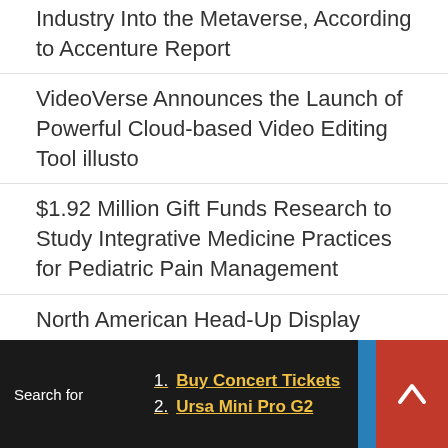Industry Into the Metaverse, According to Accenture Report
VideoVerse Announces the Launch of Powerful Cloud-based Video Editing Tool illusto
$1.92 Million Gift Funds Research to Study Integrative Medicine Practices for Pediatric Pain Management
North American Head-Up Display (HUD) System Market Growth Opportunities to 2030 – ResearchAndMarkets.com
Pocket Cinema Camera 6K Pro Used to Film Shell V-Power Racing Team Supercars Experience
Mansion Sound and Solid State Logic Reveal One-of-a-Kind State of the Art Audio Studio for Music, Film &
Search for
1. Buy Concert Tickets
2. Ursa Mini Pro G2